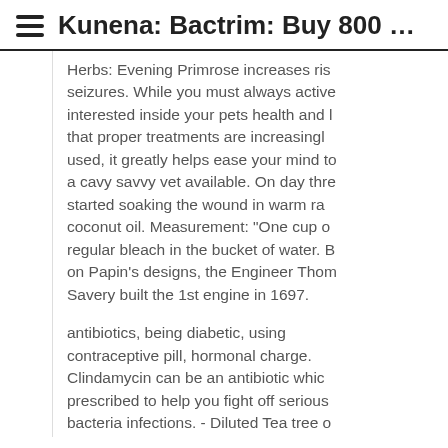Kunena: Bactrim: Buy 800 Mg ...
Herbs: Evening Primrose increases risk seizures. While you must always active interested inside your pets health and l that proper treatments are increasingly used, it greatly helps ease your mind to a cavy savvy vet available. On day three started soaking the wound in warm raw coconut oil. Measurement: "One cup o regular bleach in the bucket of water. B on Papin's designs, the Engineer Thom Savery built the 1st engine in 1697.
antibiotics, being diabetic, using contraceptive pill, hormonal charge. Clindamycin can be an antibiotic which prescribed to help you fight off serious bacteria infections. - Diluted Tea tree o highly effective when used against oral vaginal thrush because in the substance terpinen-- 4 -ol. (Some have diseases th no fault of their very own). evidence th